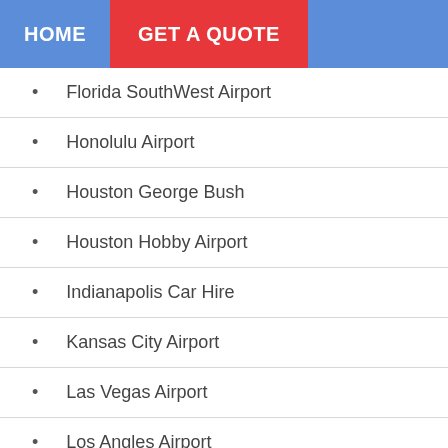HOME | GET A QUOTE
Florida SouthWest Airport
Honolulu Airport
Houston George Bush
Houston Hobby Airport
Indianapolis Car Hire
Kansas City Airport
Las Vegas Airport
Los Angles Airport
Memphis Airport
Miami Airport Car Hire
Minneapolis Airport
Nashville Car Hire
New Orleans Car Hire